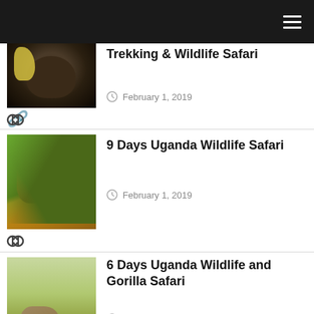Navigation header bar
Trekking & Wildlife Safari
February 1, 2019
9 Days Uganda Wildlife Safari
February 1, 2019
6 Days Uganda Wildlife and Gorilla Safari
February 1, 2019
3 Days Uganda Wildlife Safari